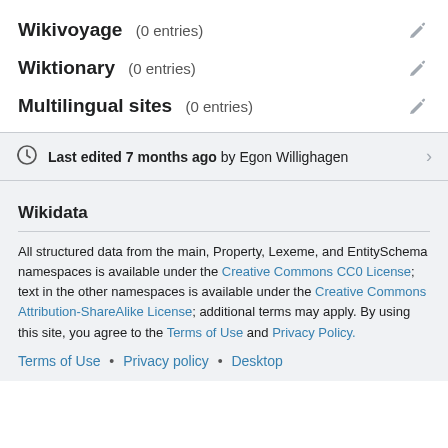Wikivoyage  (0 entries)
Wiktionary  (0 entries)
Multilingual sites  (0 entries)
Last edited 7 months ago by Egon Willighagen
Wikidata
All structured data from the main, Property, Lexeme, and EntitySchema namespaces is available under the Creative Commons CC0 License; text in the other namespaces is available under the Creative Commons Attribution-ShareAlike License; additional terms may apply. By using this site, you agree to the Terms of Use and Privacy Policy.
Terms of Use • Privacy policy • Desktop